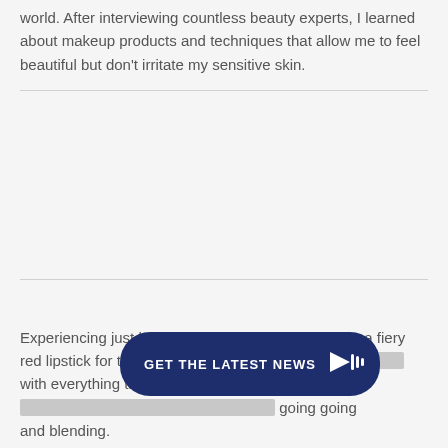world. After interviewing countless beauty experts, I learned about makeup products and techniques that allow me to feel beautiful but don't irritate my sensitive skin.
[Figure (other): Empty gray content area between two horizontal dividers, likely a placeholder for an image.]
Experiencing just how confident I felt when wearing a fiery red lipstick for the first time ░░░░░░░░░░░░░░░░░░░░░░░ with everything there is to ░░░░░░░░░░░░░░░░░░░░░░░░ going going and blending.